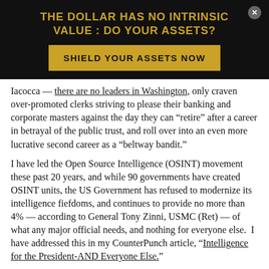THE DOLLAR HAS NO INTRINSIC VALUE : DO YOUR ASSETS?
SHIELD YOUR ASSETS NOW
Iacocca — there are no leaders in Washington, only craven over-promoted clerks striving to please their banking and corporate masters against the day they can “retire” after a career in betrayal of the public trust, and roll over into an even more lucrative second career as a “beltway bandit.”
I have led the Open Source Intelligence (OSINT) movement these past 20 years, and while 90 governments have created OSINT units, the US Government has refused to modernize its intelligence fiefdoms, and continues to provide no more than 4% — according to General Tony Zinni, USMC (Ret) — of what any major official needs, and nothing for everyone else.  I have addressed this in my CounterPunch article, “Intelligence for the President-AND Everyone Else.”